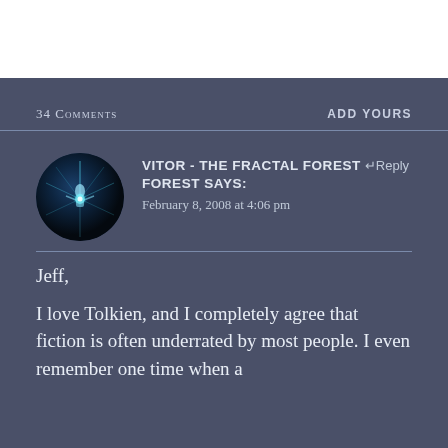34 Comments
ADD YOURS
[Figure (illustration): Circular avatar image with a dark blue mystical figure radiating light beams on a dark background]
VITOR - THE FRACTAL FOREST says: February 8, 2008 at 4:06 pm
Jeff,
I love Tolkien, and I completely agree that fiction is often underrated by most people. I even remember one time when a